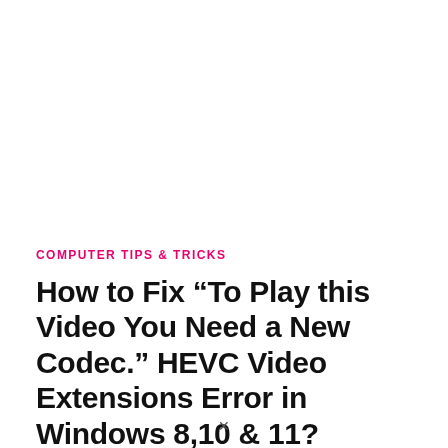COMPUTER TIPS & TRICKS
How to Fix “To Play this Video You Need a New Codec.” HEVC Video Extensions Error in Windows 8,10 & 11?